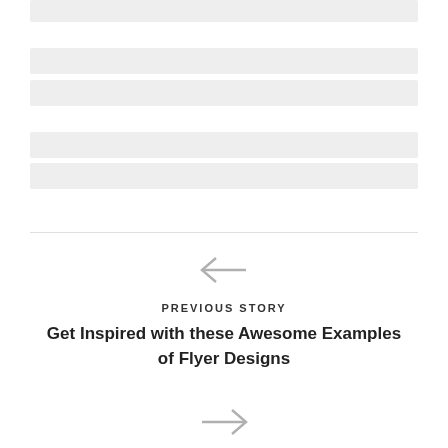[Figure (other): Gray placeholder bar at top]
[Figure (other): Gray placeholder bar]
[Figure (other): Gray placeholder bar]
[Figure (other): Gray placeholder bar]
[Figure (other): Gray placeholder bar]
PREVIOUS STORY
Get Inspired with these Awesome Examples of Flyer Designs
[Figure (other): Right arrow navigation icon]